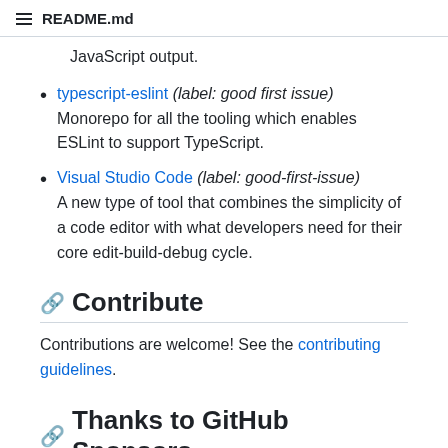README.md
JavaScript output.
typescript-eslint (label: good first issue) Monorepo for all the tooling which enables ESLint to support TypeScript.
Visual Studio Code (label: good-first-issue) A new type of tool that combines the simplicity of a code editor with what developers need for their core edit-build-debug cycle.
Contribute
Contributions are welcome! See the contributing guidelines.
Thanks to GitHub Sponsors